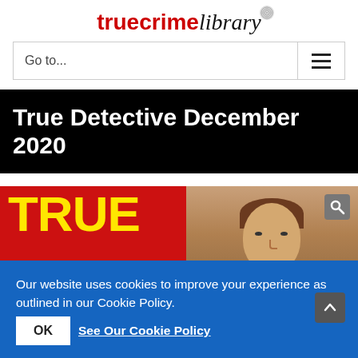truecrimelibrary
Go to...
True Detective December 2020
[Figure (photo): Magazine cover of True Detective December 2020 issue. Bold yellow text 'TRUE' and 'DETECTIVE' on red background, with a white label showing 'DECEMBER 2020 £3.70', and a photo of a woman's face on the right side. A search icon (magnifying glass) appears in the top-right corner.]
Our website uses cookies to improve your experience as outlined in our Cookie Policy.
OK
See Our Cookie Policy